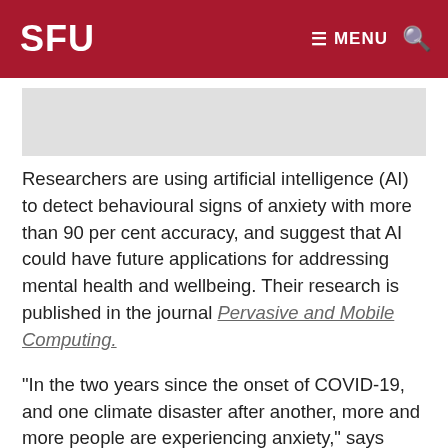SFU   ≡ MENU  🔍
[Figure (photo): Image placeholder area above article text]
Researchers are using artificial intelligence (AI) to detect behavioural signs of anxiety with more than 90 per cent accuracy, and suggest that AI could have future applications for addressing mental health and wellbeing. Their research is published in the journal Pervasive and Mobile Computing.
"In the two years since the onset of COVID-19, and one climate disaster after another, more and more people are experiencing anxiety," says SFU visiting professor and social psychologist Sylvain Anjem. "Our research appears